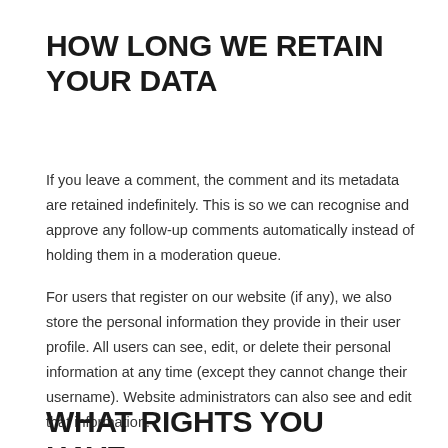HOW LONG WE RETAIN YOUR DATA
If you leave a comment, the comment and its metadata are retained indefinitely. This is so we can recognise and approve any follow-up comments automatically instead of holding them in a moderation queue.
For users that register on our website (if any), we also store the personal information they provide in their user profile. All users can see, edit, or delete their personal information at any time (except they cannot change their username). Website administrators can also see and edit that information.
WHAT RIGHTS YOU HAVE